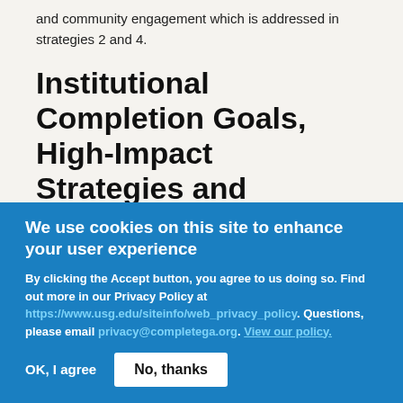and community engagement which is addressed in strategies 2 and 4.
Institutional Completion Goals, High-Impact Strategies and Activities
Based on your review of data on completion indicators, your institutional mission, and the resources available, please identify and report on your institution's high priority, high impact strategies.  The strategies and goals
We use cookies on this site to enhance your user experience
By clicking the Accept button, you agree to us doing so. Find out more in our Privacy Policy at https://www.usg.edu/siteinfo/web_privacy_policy. Questions, please email privacy@completega.org. View our policy.
OK, I agree
No, thanks